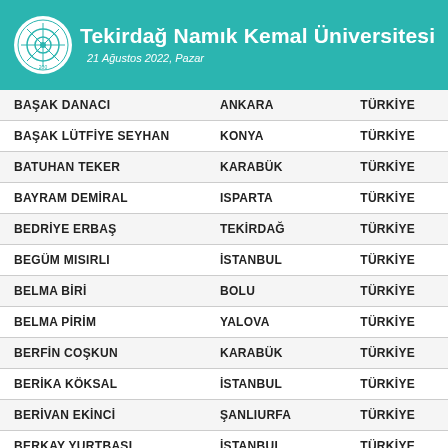Tekirdağ Namık Kemal Üniversitesi 21 Ağustos 2022, Pazar
| Ad Soyad | Şehir | Ülke |
| --- | --- | --- |
| BAŞAK DANACI | ANKARA | TÜRKİYE |
| BAŞAK LÜTFİYE SEYHAN | KONYA | TÜRKİYE |
| BATUHAN TEKER | KARABÜK | TÜRKİYE |
| BAYRAM DEMİRAL | ISPARTA | TÜRKİYE |
| BEDRİYE ERBAŞ | TEKİRDAĞ | TÜRKİYE |
| BEGÜM MISIRLI | İSTANBUL | TÜRKİYE |
| BELMA BİRİ | BOLU | TÜRKİYE |
| BELMA PİRİM | YALOVA | TÜRKİYE |
| BERFİN COŞKUN | KARABÜK | TÜRKİYE |
| BERİKA KÖKSAL | İSTANBUL | TÜRKİYE |
| BERİVAN EKİNCİ | ŞANLIURFA | TÜRKİYE |
| BERKAY YURTBAŞI | İSTANBUL | TÜRKİYE |
| BERNA AY | BALIKESİR | TÜRKİYE |
| BERNA OK |  | TÜRKİYE |
| BERNHARD ZİLLİNG | BERLİN | ALMANYA |
| BETÜL ESER | KARABÜK | TÜRKİYE |